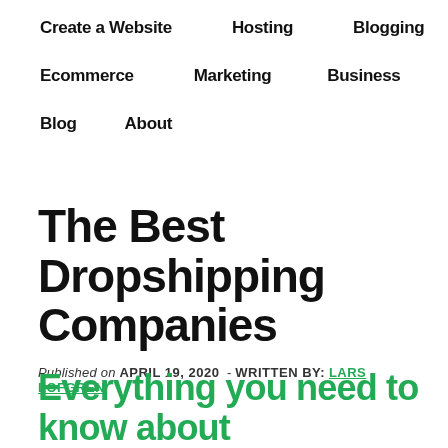Create a Website   Hosting   Blogging   Ecommerce   Marketing   Business   Blog   About
The Best Dropshipping Companies
Published on APRIL 19, 2020 - WRITTEN BY: LARS LOFGREN
Everything you need to know about dropshipping —